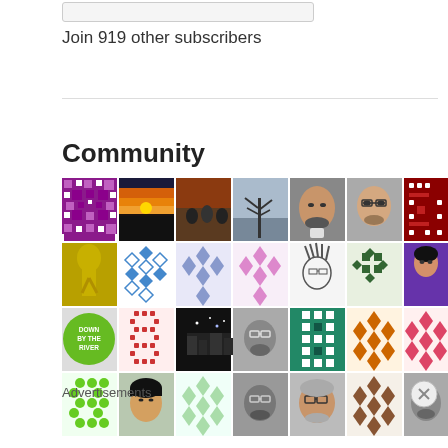Join 919 other subscribers
Community
[Figure (photo): A 4-row grid of community member avatars showing photos, illustrated portraits, and decorative tile patterns]
Advertisements